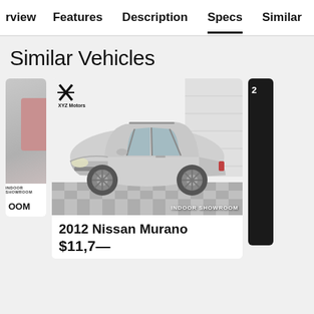rview | Features | Description | Specs | Similar
Similar Vehicles
[Figure (photo): Silver 2012 Nissan Murano SUV photographed in an indoor showroom with checkered floor. XYZ Motors dealer logo visible in top left. 'INDOOR SHOWROOM' text in bottom right.]
2012 Nissan Murano
$11,799